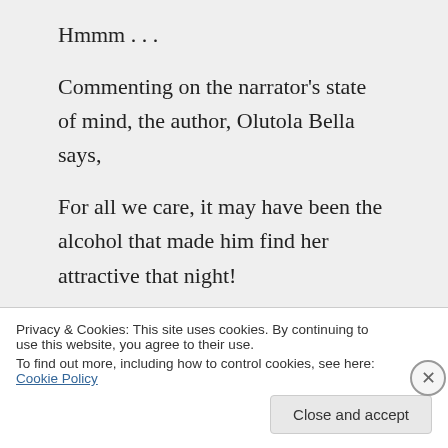Hmmm . . .
Commenting on the narrator's state of mind, the author, Olutola Bella says,
For all we care, it may have been the alcohol that made him find her attractive that night!
Privacy & Cookies: This site uses cookies. By continuing to use this website, you agree to their use.
To find out more, including how to control cookies, see here: Cookie Policy
Close and accept